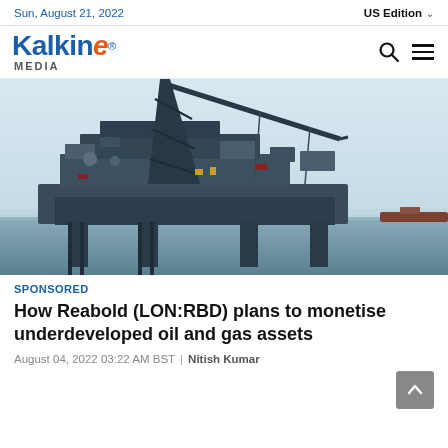Sun, August 21, 2022 | US Edition
[Figure (logo): Kalkine Media logo with blue 'Kalkine' text, orange italic 'e', and 'MEDIA' subtitle. Search and hamburger menu icons on right.]
[Figure (photo): Offshore oil drilling rig/platform photographed against a light sky, with industrial cranes and superstructure visible. A vessel visible in background.]
SPONSORED
How Reabold (LON:RBD) plans to monetise underdeveloped oil and gas assets
August 04, 2022 03:22 AM BST | Nitish Kumar